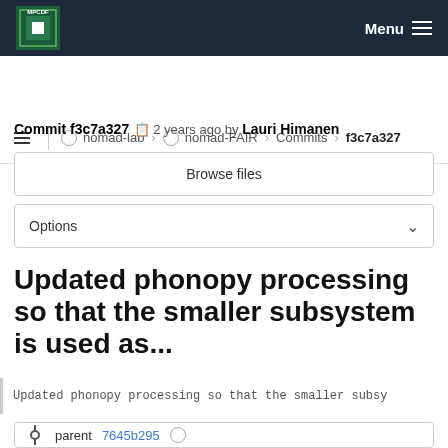MPCDF  Menu
nomad-lab › nomad-FAIR › Commits › f3c7a327
Commit f3c7a327  2 years ago by Lauri Himanen
Browse files
Options
Updated phonopy processing so that the smaller subsystem is used as...
Updated phonopy processing so that the smaller subsy
parent 7645b295